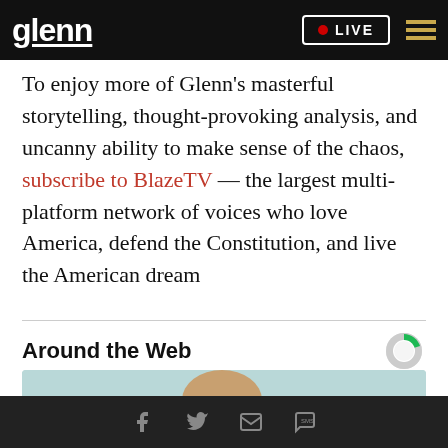glenn | LIVE
To enjoy more of Glenn's masterful storytelling, thought-provoking analysis, and uncanny ability to make sense of the chaos, subscribe to BlazeTV — the largest multi-platform network of voices who love America, defend the Constitution, and live the American dream
Around the Web
[Figure (photo): Partial photo of a person's head/hair against a light blue background]
Social icons: Facebook, Twitter, Email, SMS